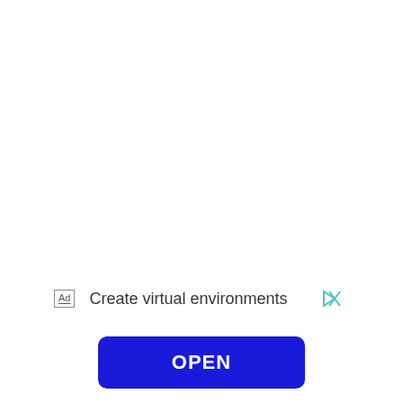Ad  Create virtual environments
OPEN